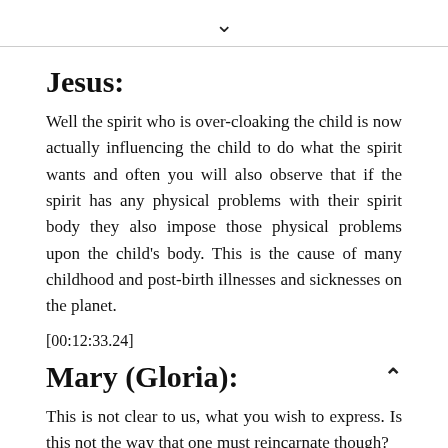▾
Jesus:
Well the spirit who is over-cloaking the child is now actually influencing the child to do what the spirit wants and often you will also observe that if the spirit has any physical problems with their spirit body they also impose those physical problems upon the child's body. This is the cause of many childhood and post-birth illnesses and sicknesses on the planet.
[00:12:33.24]
Mary (Gloria):
This is not clear to us, what you wish to express. Is this not the way that one must reincarnate though?